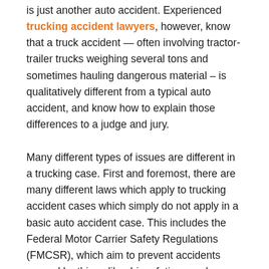is just another auto accident. Experienced trucking accident lawyers, however, know that a truck accident — often involving tractor-trailer trucks weighing several tons and sometimes hauling dangerous material – is qualitatively different from a typical auto accident, and know how to explain those differences to a judge and jury.
Many different types of issues are different in a trucking case. First and foremost, there are many different laws which apply to trucking accident cases which simply do not apply in a basic auto accident case. This includes the Federal Motor Carrier Safety Regulations (FMCSR), which aim to prevent accidents caused by things like driver fatigue and substance abuse. These regulations are written as duties of the drivers, but under the law it is the duty of the trucking company to ensure that its drivers comply. The FMCSR also set forth the